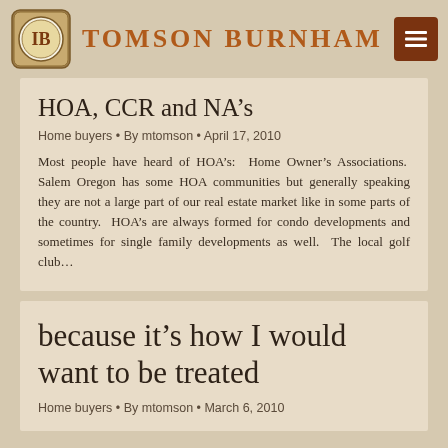Tomson Burnham
HOA, CCR and NA’s
Home buyers • By mtomson • April 17, 2010
Most people have heard of HOA’s:  Home Owner’s Associations.  Salem Oregon has some HOA communities but generally speaking they are not a large part of our real estate market like in some parts of the country.  HOA’s are always formed for condo developments and sometimes for single family developments as well.  The local golf club…
because it’s how I would want to be treated
Home buyers • By mtomson • March 6, 2010